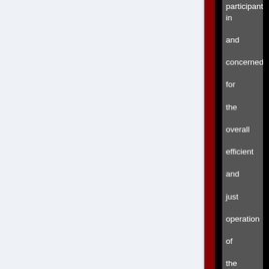participant in and concerned for the overall efficient and just operation of the entire social capital.
8. Completed and Scoped Monetization. As an